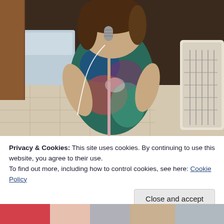[Figure (photo): A young child standing and holding a toy microphone on a pink stand, wearing a tie-dye shirt. Background shows storage containers, boxes, and a pet carrier in a home setting.]
Privacy & Cookies: This site uses cookies. By continuing to use this website, you agree to their use.
To find out more, including how to control cookies, see here: Cookie Policy
[Figure (photo): Partial view of a second photo at the bottom of the page showing colorful objects.]